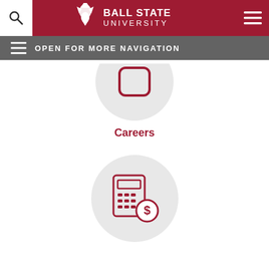[Figure (screenshot): Ball State University website header with logo (eagle mascot and BALL STATE UNIVERSITY text in white on dark red background), search icon on left, hamburger menu on right]
[Figure (screenshot): Navigation bar in gray with hamburger menu icon and OPEN FOR MORE NAVIGATION text in white]
[Figure (illustration): Partially visible icon in a light gray circle at top of content area]
Careers
[Figure (illustration): Calculator with dollar coin icon inside a light gray circle]